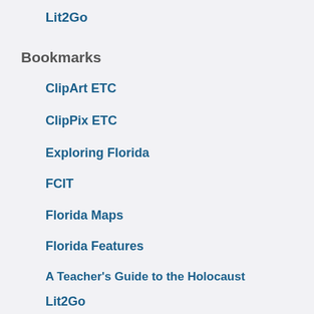Lit2Go
Bookmarks
ClipArt ETC
ClipPix ETC
Exploring Florida
FCIT
Florida Maps
Florida Features
A Teacher's Guide to the Holocaust
Lit2Go
Maps ETC